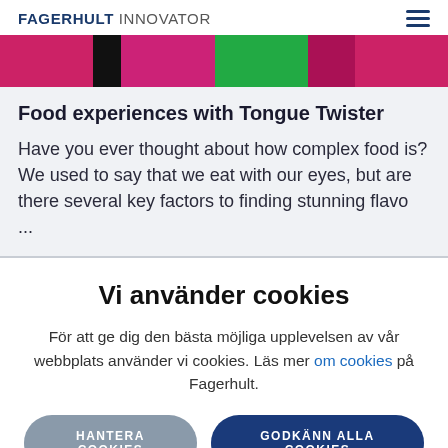FAGERHULT INNOVATOR
[Figure (photo): Colorful banner image with pink, black, green sections]
Food experiences with Tongue Twister
Have you ever thought about how complex food is? We used to say that we eat with our eyes, but are there several key factors to finding stunning flavo ...
Vi använder cookies
För att ge dig den bästa möjliga upplevelsen av vår webbplats använder vi cookies. Läs mer om cookies på Fagerhult.
HANTERA COOKIES
GODKÄNN ALLA COOKIES